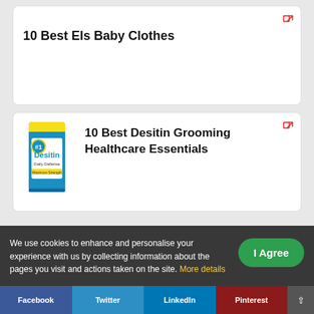10 Best Els Baby Clothes
[Figure (photo): Desitin Daily Defense cream product tube/box]
10 Best Desitin Grooming Healthcare Essentials
We use cookies to enhance and personalise your experience with us by collecting information about the pages you visit and actions taken on the site. More details
I Agree
Facebook  Twitter  LinkedIn  Pinterest